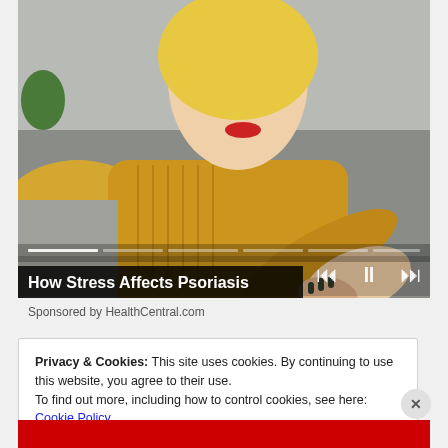[Figure (photo): A woman in a yellow/mustard knit sweater sitting on a couch, scratching or touching her elbow, suggesting a skin condition like psoriasis. Blonde hair, red lipstick. Background shows a grey sofa and plants. Video player controls (skip back, pause, skip forward) and a progress bar are overlaid at the bottom. A black title bar reads 'How Stress Affects Psoriasis'.]
Sponsored by HealthCentral.com
Privacy & Cookies: This site uses cookies. By continuing to use this website, you agree to their use.
To find out more, including how to control cookies, see here: Cookie Policy
Close and accept